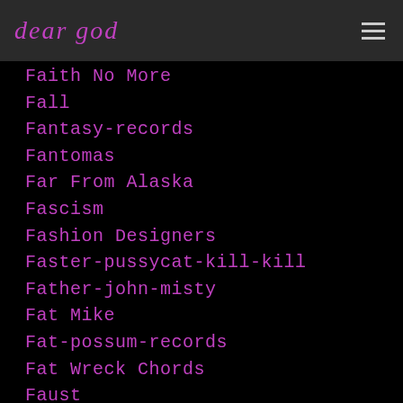dear god
Faith No More
Fall
Fantasy-records
Fantomas
Far From Alaska
Fascism
Fashion Designers
Faster-pussycat-kill-kill
Father-john-misty
Fat Mike
Fat-possum-records
Fat Wreck Chords
Faust
Fazerdaze
Fear
Fear-and-loathing-in-las-vegas
Fear-factory